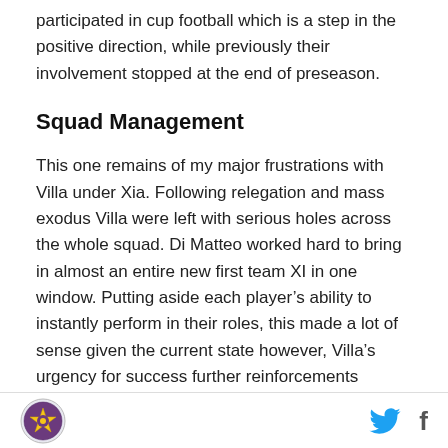participated in cup football which is a step in the positive direction, while previously their involvement stopped at the end of preseason.
Squad Management
This one remains of my major frustrations with Villa under Xia. Following relegation and mass exodus Villa were left with serious holes across the whole squad. Di Matteo worked hard to bring in almost an entire new first team XI in one window. Putting aside each player’s ability to instantly perform in their roles, this made a lot of sense given the current state however, Villa’s urgency for success further reinforcements dominated brought in the following two windows to cover for
[logo] [twitter] [facebook]